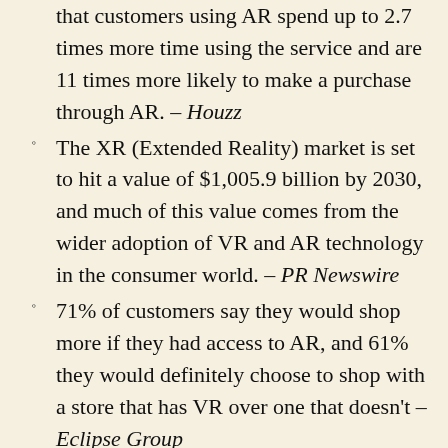that customers using AR spend up to 2.7 times more time using the service and are 11 times more likely to make a purchase through AR. – Houzz
The XR (Extended Reality) market is set to hit a value of $1,005.9 billion by 2030, and much of this value comes from the wider adoption of VR and AR technology in the consumer world. – PR Newswire
71% of customers say they would shop more if they had access to AR, and 61% they would definitely choose to shop with a store that has VR over one that doesn't – Eclipse Group
Almost 1 in 5 US consumers have used a